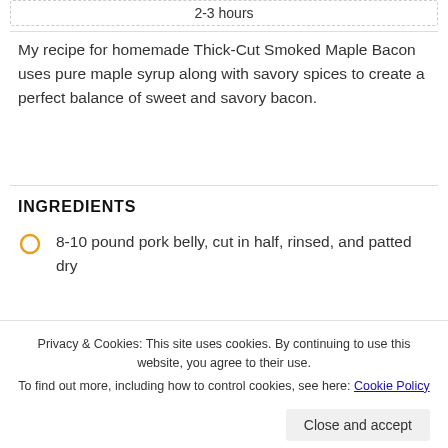2-3 hours
My recipe for homemade Thick-Cut Smoked Maple Bacon uses pure maple syrup along with savory spices to create a perfect balance of sweet and savory bacon.
INGREDIENTS
8-10 pound pork belly, cut in half, rinsed, and patted dry
Privacy & Cookies: This site uses cookies. By continuing to use this website, you agree to their use.
To find out more, including how to control cookies, see here: Cookie Policy
1/4 cup packed brown sugar